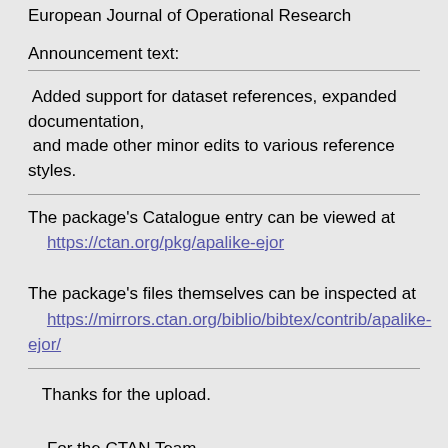European Journal of Operational Research
Announcement text:
Added support for dataset references, expanded documentation,
 and made other minor edits to various reference styles.
The package's Catalogue entry can be viewed at
    https://ctan.org/pkg/apalike-ejor
The package's files themselves can be inspected at
    https://mirrors.ctan.org/biblio/bibtex/contrib/apalike-ejor/
Thanks for the upload.

    For the CTAN Team
    Petra Rübe-Pugliese
CTAN is run entirely by volunteers and supported by